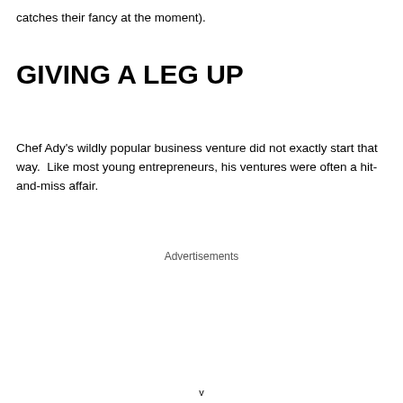catches their fancy at the moment).
GIVING A LEG UP
Chef Ady's wildly popular business venture did not exactly start that way.  Like most young entrepreneurs, his ventures were often a hit-and-miss affair.
Advertisements
v